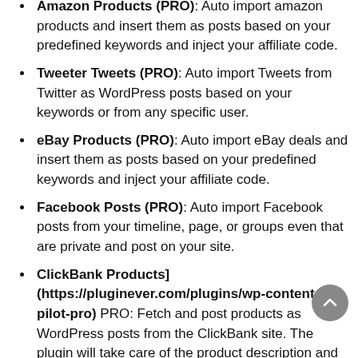Amazon Products (PRO): Auto import amazon products and insert them as posts based on your predefined keywords and inject your affiliate code.
Tweeter Tweets (PRO): Auto import Tweets from Twitter as WordPress posts based on your keywords or from any specific user.
eBay Products (PRO): Auto import eBay deals and insert them as posts based on your predefined keywords and inject your affiliate code.
Facebook Posts (PRO): Auto import Facebook posts from your timeline, page, or groups even that are private and post on your site.
ClickBank Products] (https://pluginever.com/plugins/wp-content-pilot-pro) PRO: Fetch and post products as WordPress posts from the ClickBank site. The plugin will take care of the product description and affiliate links.